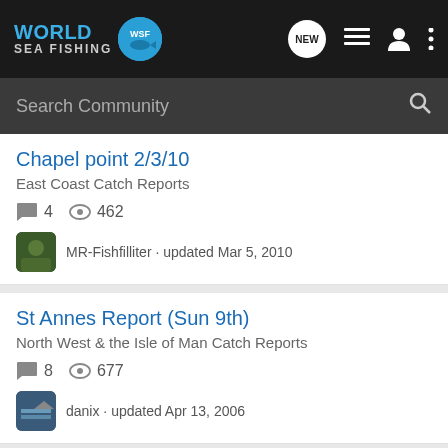World Sea Fishing — WSF
Search Community
Chapel point 2/3/10
East Coast Catch Reports
4 comments · 462 views
MR-Fishfilliter · updated Mar 5, 2010
St Annes Report (Sun 9th)
North West & the Isle of Man Catch Reports
8 comments · 677 views
danix · updated Apr 13, 2006
Dymchurch wall over low tide.
South East Catch Reports